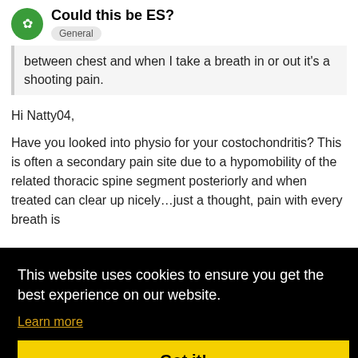Could this be ES? General
between chest and when I take a breath in or out it's a shooting pain.
Hi Natty04,
Have you looked into physio for your costochondritis? This is often a secondary pain site due to a hypomobility of the related thoracic spine segment posteriorly and when treated can clear up nicely…just a thought, pain with every breath is
This website uses cookies to ensure you get the best experience on our website. Learn more Got it!
Aug '20
reason xx